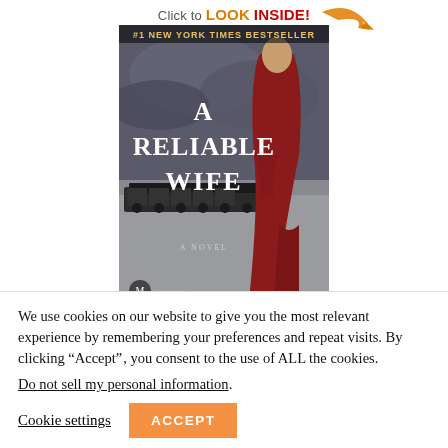[Figure (illustration): Book cover of 'A Reliable Wife' a novel, labeled #1 New York Times Bestseller, with an orange 'Click to LOOK INSIDE!' arrow badge at top. The cover shows a woman in a red dress and a train in a wintry scene.]
We use cookies on our website to give you the most relevant experience by remembering your preferences and repeat visits. By clicking “Accept”, you consent to the use of ALL the cookies.
Do not sell my personal information.
Cookie settings
ACCEPT